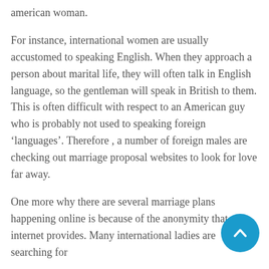american woman.
For instance, international women are usually accustomed to speaking English. When they approach a person about marital life, they will often talk in English language, so the gentleman will speak in British to them. This is often difficult with respect to an American guy who is probably not used to speaking foreign ‘languages’. Therefore , a number of foreign males are checking out marriage proposal websites to look for love far away.
One more why there are several marriage plans happening online is because of the anonymity that your internet provides. Many international ladies are searching for